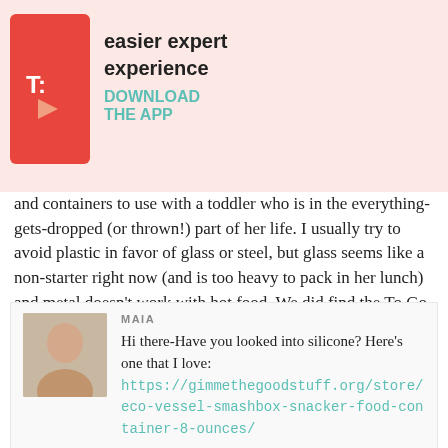[Figure (screenshot): Pink promotional banner with red logo icon (TB letters with play button), text 'easier expert', 'experience', 'DOWNLOAD', 'THE APP']
and containers to use with a toddler who is in the everything-gets-dropped (or thrown!) part of her life. I usually try to avoid plastic in favor of glass or steel, but glass seems like a non-starter right now (and is too heavy to pack in her lunch) and metal doesn't work with hot food. We did find the To Go Ware bamboo spoons and the Pura stainless steel bottle/sippy, plus we use some of the Lunchbots steel cont... View More
[Figure (photo): Small avatar photo of a woman with light hair]
MAIA
Hi there-Have you looked into silicone? Here's one that I love:
https://gimmethegoodstuff.org/store/eco-vessel-smashbox-snacker-food-container-8-ounces/